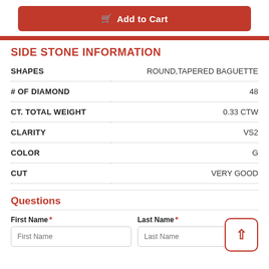Add to Cart
SIDE STONE INFORMATION
| Property | Value |
| --- | --- |
| SHAPES | ROUND,TAPERED BAGUETTE |
| # OF DIAMOND | 48 |
| CT. TOTAL WEIGHT | 0.33 CTW |
| CLARITY | VS2 |
| COLOR | G |
| CUT | VERY GOOD |
Questions
First Name *
Last Name *